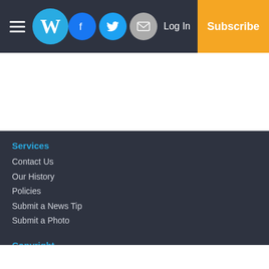Washington Daily News navigation bar with hamburger menu, W logo, Facebook, Twitter, Email icons, Log In, Subscribe
Services
Contact Us
Our History
Policies
Submit a News Tip
Submit a Photo
Copyright
© 2022, Washington Daily News